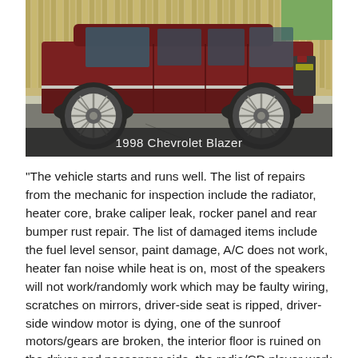[Figure (photo): Side view of a 1998 Chevrolet Blazer in dark red/maroon color with aftermarket chrome multi-spoke wheels, parked on a street with a wooden fence in the background.]
1998 Chevrolet Blazer
"The vehicle starts and runs well. The list of repairs from the mechanic for inspection include the radiator, heater core, brake caliper leak, rocker panel and rear bumper rust repair. The list of damaged items include the fuel level sensor, paint damage, A/C does not work, heater fan noise while heat is on, most of the speakers will not work/randomly work which may be faulty wiring, scratches on mirrors, driver-side seat is ripped, driver-side window motor is dying, one of the sunroof motors/gears are broken, the interior floor is ruined on the driver and passenger side, the radio/CD player work